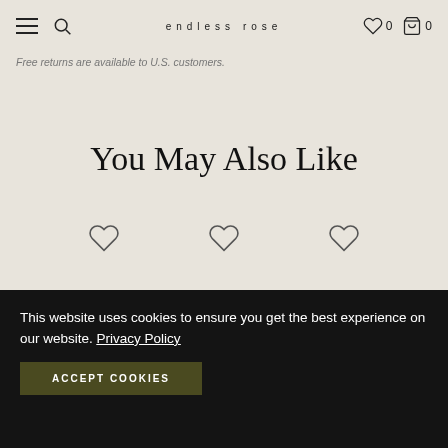endless rose
Free returns are available to U.S. customers.
You May Also Like
[Figure (other): Three heart/wishlist icons in a row representing product wishlist buttons]
This website uses cookies to ensure you get the best experience on our website. Privacy Policy
ACCEPT COOKIES